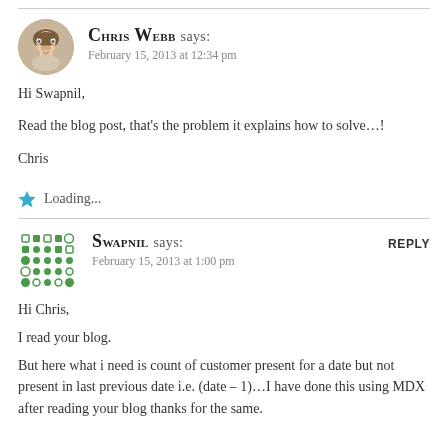Chris Webb says: February 15, 2013 at 12:34 pm
Hi Swapnil,

Read the blog post, that's the problem it explains how to solve…!

Chris
Loading...
Swapnil says: February 15, 2013 at 1:00 pm
Hi Chris,

I read your blog.
But here what i need is count of customer present for a date but not present in last previous date i.e. (date – 1)…I have done this using MDX after reading your blog thanks for the same.